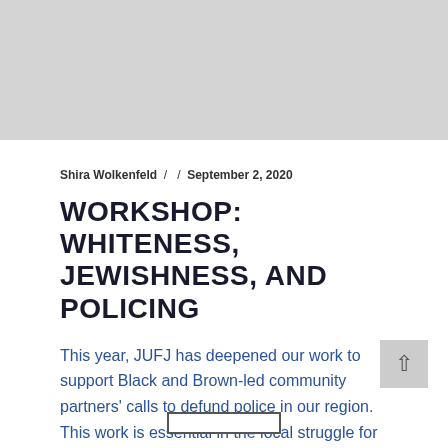[Figure (photo): Gray placeholder image area at the top of the page]
Shira Wolkenfeld /  / September 2, 2020
WORKSHOP: WHITENESS, JEWISHNESS, AND POLICING
This year, JUFJ has deepened our work to support Black and Brown-led community partners' calls to defund police in our region. This work is essential in the local struggle for racial justice, but [...]